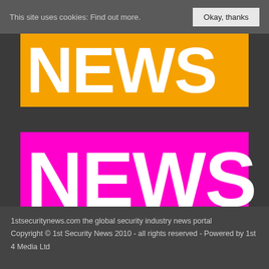This site uses cookies: Find out more.  Okay, thanks
[Figure (logo): Orange banner with large white text reading NEWS]
[Figure (logo): Magenta/pink banner with large white text reading NEWS]
1stsecuritynews.com the global security industry news portal
Copyright © 1st Security News 2010 - all rights reserved - Powered by 1st 4 Media Ltd